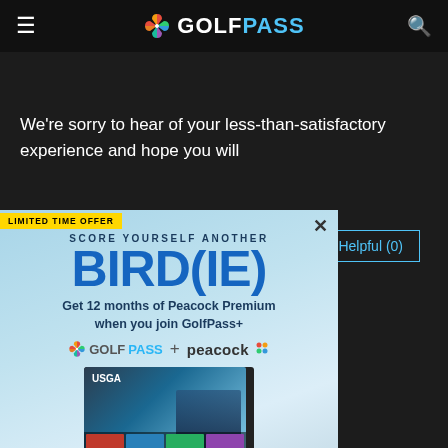GOLFPASS
We're sorry to hear of your less-than-satisfactory experience and hope you will
Show All...
Helpful (0)
[Figure (screenshot): GolfPass promotional popup overlay on a dark website background. Contains 'LIMITED TIME OFFER' badge, 'SCORE YOURSELF ANOTHER BIRD(IE)' headline, '12 months of Peacock Premium when you join GolfPass+' offer, GolfPass + peacock logos, TV screen with golf/USGA content, JOIN NOW orange button, and fine print '$4.99/mo vs usual. Eligibility restrictions and terms apply.']